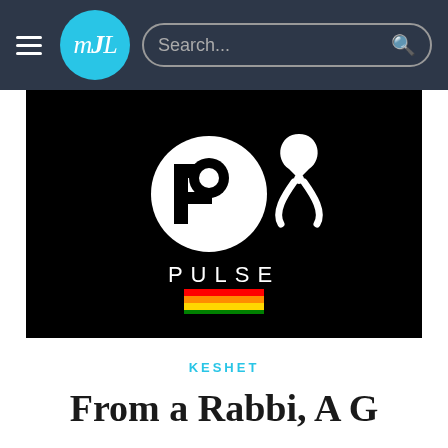mjL | Search...
[Figure (logo): Pulse nightclub logo with white awareness ribbon on black background, with rainbow pride flag bars below the PULSE text]
KESHET
From a Rabbi, A G...